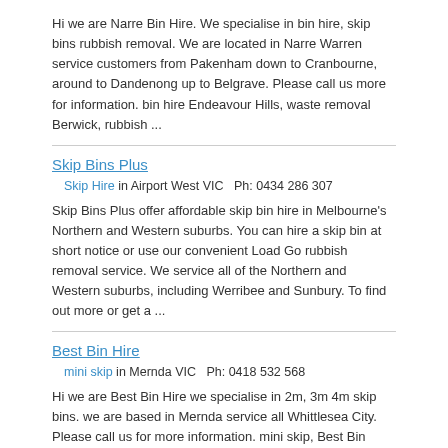Hi we are Narre Bin Hire. We specialise in bin hire, skip bins rubbish removal. We are located in Narre Warren service customers from Pakenham down to Cranbourne, around to Dandenong up to Belgrave. Please call us more for information. bin hire Endeavour Hills, waste removal Berwick, rubbish ...
Skip Bins Plus
Skip Hire in Airport West VIC    Ph: 0434 286 307
Skip Bins Plus offer affordable skip bin hire in Melbourne's Northern and Western suburbs. You can hire a skip bin at short notice or use our convenient Load Go rubbish removal service. We service all of the Northern and Western suburbs, including Werribee and Sunbury. To find out more or get a ...
Best Bin Hire
mini skip in Mernda VIC    Ph: 0418 532 568
Hi we are Best Bin Hire we specialise in 2m, 3m 4m skip bins. we are based in Mernda service all Whittlesea City. Please call us for more information. mini skip, Best Bin Hire, Mernda, VIC ...
Bada Bin Waste Management
Skip Hire Boonah in Boonah QLD    Ph: 0754634888
Badabins Waste Management, husband and wife team servicing the Scenic Rim. Skip bin hire available 6 days a week. Skip Hire Boonah, Bada Bin ...